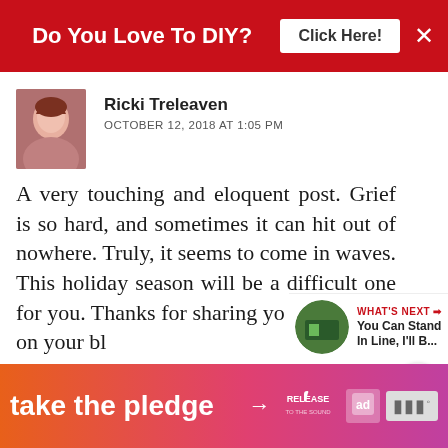[Figure (infographic): Red banner ad at top: 'Do You Love To DIY?' with 'Click Here!' button and X close button]
Ricki Treleaven
OCTOBER 12, 2018 AT 1:05 PM
A very touching and eloquent post. Grief is so hard, and sometimes it can hit out of nowhere. Truly, it seems to come in waves. This holiday season will be a difficult one for you. Thanks for sharing your heart here on your blog. (((((hugs)))))
REPLY DELETE
[Figure (infographic): Bottom banner ad: 'take the pledge' with arrow, RELEASE logo, ad badge, and dots logo on gradient orange-pink background]